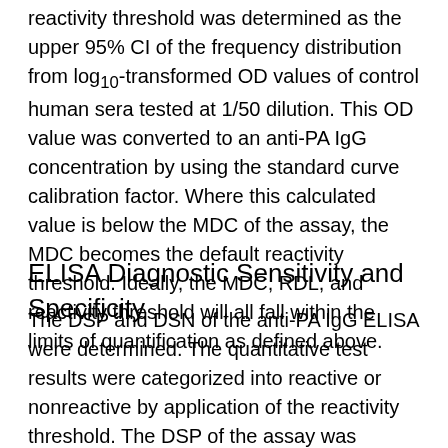reactivity threshold was determined as the upper 95% CI of the frequency distribution from log10-transformed OD values of control human sera tested at 1/50 dilution. This OD value was converted to an anti-PA IgG concentration by using the standard curve calibration factor. Where this calculated value is below the MDC of the assay, the MDC becomes the default reactivity threshold. Ideally, the MDC, RDL, and reactivity threshold will all fall within the limits of quantification as defined above.
ELISA Diagnostic Sensitivity and Specificity
The DSP and DSN of the anti-PA IgG ELISA were determined. The quantitative test results were categorized into reactive or nonreactive by application of the reactivity threshold. The DSP of the assay was calculated as [TN/(TN+FP)], where TN =